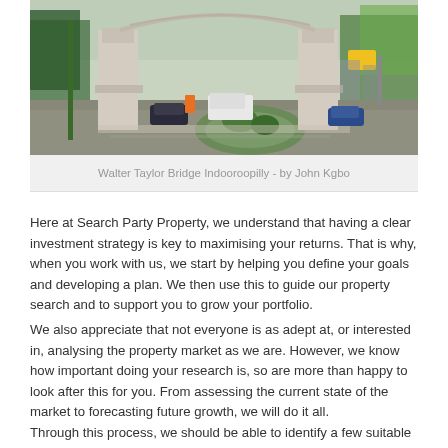[Figure (photo): Photograph of Walter Taylor Bridge in Indooroopilly, showing the bridge pylons, road, vehicles, and surrounding vegetation. Photo credit: John Kgbo.]
Walter Taylor Bridge Indooroopilly - by John Kgbo
Here at Search Party Property, we understand that having a clear investment strategy is key to maximising your returns. That is why, when you work with us, we start by helping you define your goals and developing a plan. We then use this to guide our property search and to support you to grow your portfolio.
We also appreciate that not everyone is as adept at, or interested in, analysing the property market as we are. However, we know how important doing your research is, so are more than happy to look after this for you. From assessing the current state of the market to forecasting future growth, we will do it all.
Through this process, we should be able to identify a few suitable opportunities and we will present these to you. We will